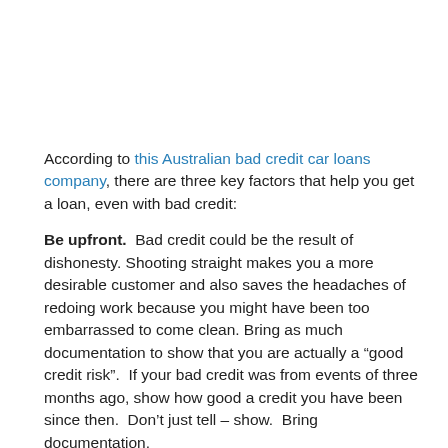According to this Australian bad credit car loans company, there are three key factors that help you get a loan, even with bad credit:
Be upfront.  Bad credit could be the result of dishonesty. Shooting straight makes you a more desirable customer and also saves the headaches of redoing work because you might have been too embarrassed to come clean. Bring as much documentation to show that you are actually a “good credit risk”.  If your bad credit was from events of three months ago, show how good a credit you have been since then.  Don’t just tell – show.  Bring documentation.
Stable employment.  This is huge!  You might have bad credit, but that doesn’t mean you can’t pay.  Being able to